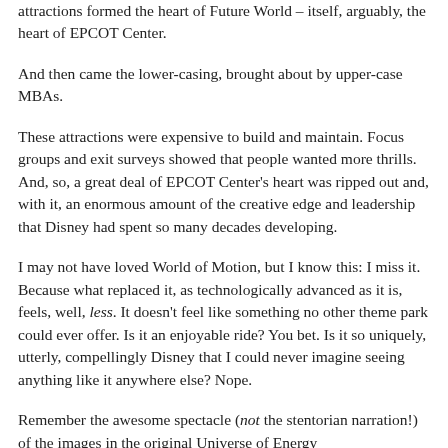attractions formed the heart of Future World – itself, arguably, the heart of EPCOT Center.
And then came the lower-casing, brought about by upper-case MBAs.
These attractions were expensive to build and maintain. Focus groups and exit surveys showed that people wanted more thrills. And, so, a great deal of EPCOT Center's heart was ripped out and, with it, an enormous amount of the creative edge and leadership that Disney had spent so many decades developing.
I may not have loved World of Motion, but I know this: I miss it. Because what replaced it, as technologically advanced as it is, feels, well, less. It doesn't feel like something no other theme park could ever offer. Is it an enjoyable ride? You bet. Is it so uniquely, utterly, compellingly Disney that I could never imagine seeing anything like it anywhere else? Nope.
Remember the awesome spectacle (not the stentorian narration!) of the images in the original Universe of Energy